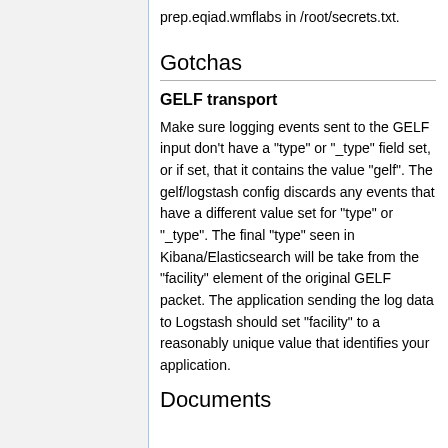prep.eqiad.wmflabs in /root/secrets.txt.
Gotchas
GELF transport
Make sure logging events sent to the GELF input don't have a "type" or "_type" field set, or if set, that it contains the value "gelf". The gelf/logstash config discards any events that have a different value set for "type" or "_type". The final "type" seen in Kibana/Elasticsearch will be take from the "facility" element of the original GELF packet. The application sending the log data to Logstash should set "facility" to a reasonably unique value that identifies your application.
Documents